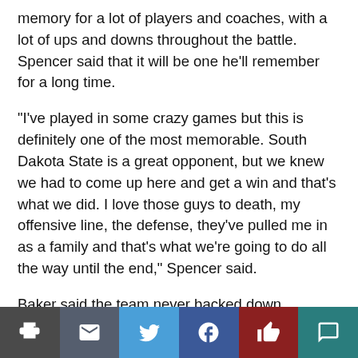memory for a lot of players and coaches, with a lot of ups and downs throughout the battle. Spencer said that it will be one he'll remember for a long time.
“I’ve played in some crazy games but this is definitely one of the most memorable. South Dakota State is a great opponent, but we knew we had to come up here and get a win and that’s what we did. I love those guys to death, my offensive line, the defense, they’ve pulled me in as a family and that’s what we’re going to do all the way until the end,” Spencer said.
Baker said the team never backed down throughout the highs and the lows.
“We’re a confident group and we never blinked. We’ve done it before week-in and week-out. It’s just everyone in that… [continues]